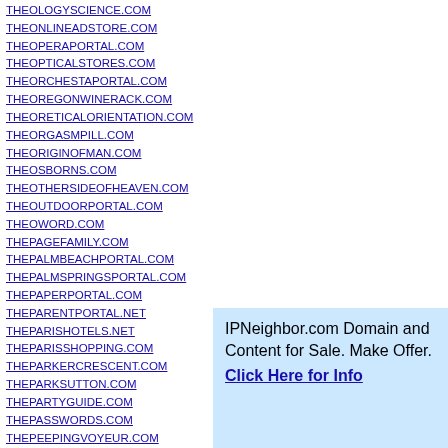THEOLOGYSCIENCE.COM
THEONLINEADSTORE.COM
THEOPERAPORTAL.COM
THEOPTICALSTORES.COM
THEORCHESTAPORTAL.COM
THEOREGONWINERACK.COM
THEORETICALORIENTATION.COM
THEORGASMPILL.COM
THEORIGINOFMAN.COM
THEOSBORNS.COM
THEOTHERSIDEOFHEAVEN.COM
THEOUTDOORPORTAL.COM
THEOWORD.COM
THEPAGEFAMILY.COM
THEPALMBEACHPORTAL.COM
THEPALMSPRINGSPORTAL.COM
THEPAPERPORTAL.COM
THEPARENTPORTAL.NET
THEPARISHOTELS.NET
THEPARISSHOPPING.COM
THEPARKERCRESCENT.COM
THEPARKSUTTON.COM
THEPARTYGUIDE.COM
THEPASSWORDS.COM
THEPEEPINGVOYEUR.COM
THEPENNSYLVANIASTATEUNIVERSITY...
THEPEOPLECOMPANY.COM
THEPEP.COM
IPNeighbor.com Domain and Content for Sale. Make Offer. Click Here for Info